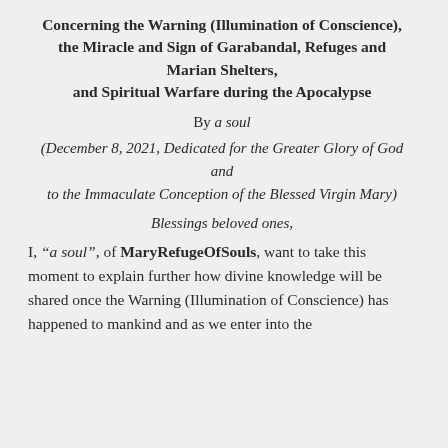Concerning the Warning (Illumination of Conscience), the Miracle and Sign of Garabandal, Refuges and Marian Shelters, and Spiritual Warfare during the Apocalypse
By a soul
(December 8, 2021, Dedicated for the Greater Glory of God and to the Immaculate Conception of the Blessed Virgin Mary)
Blessings beloved ones,
I, “a soul”, of MaryRefugeOfSouls, want to take this moment to explain further how divine knowledge will be shared once the Warning (Illumination of Conscience) has happened to mankind and as we enter into the